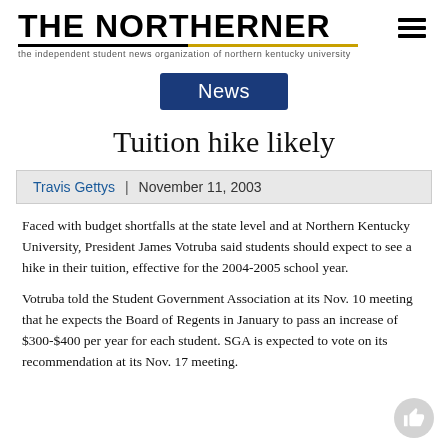THE NORTHERNER — the independent student news organization of northern kentucky university
News
Tuition hike likely
Travis Gettys | November 11, 2003
Faced with budget shortfalls at the state level and at Northern Kentucky University, President James Votruba said students should expect to see a hike in their tuition, effective for the 2004-2005 school year.
Votruba told the Student Government Association at its Nov. 10 meeting that he expects the Board of Regents in January to pass an increase of $300-$400 per year for each student. SGA is expected to vote on its recommendation at its Nov. 17 meeting.